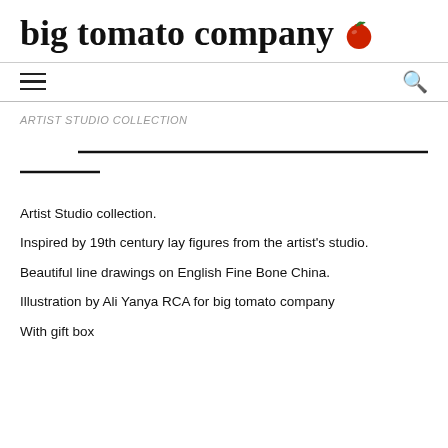big tomato company
ARTIST STUDIO COLLECTION
Artist Studio collection.
Inspired by 19th century lay figures from the artist's studio.
Beautiful line drawings on English Fine Bone China.
Illustration by Ali Yanya RCA for big tomato company
With gift box